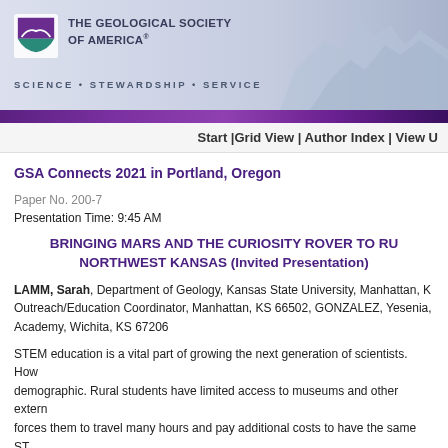[Figure (logo): The Geological Society of America logo with purple/green shield icon and organization name]
SCIENCE • STEWARDSHIP • SERVICE
Start |Grid View | Author Index | View U
GSA Connects 2021 in Portland, Oregon
Paper No. 200-7
Presentation Time: 9:45 AM
BRINGING MARS AND THE CURIOSITY ROVER TO RURAL NORTHWEST KANSAS (Invited Presentation)
LAMM, Sarah, Department of Geology, Kansas State University, Manhattan, K... Outreach/Education Coordinator, Manhattan, KS 66502, GONZALEZ, Yesenia, Academy, Wichita, KS 67206
STEM education is a vital part of growing the next generation of scientists. How... demographic. Rural students have limited access to museums and other extern... forces them to travel many hours and pay additional costs to have the same ST... Both my outreach collaborator and myself know firsthand these struggles since... the gap between rural students and accessible STEM programs, my collaborato... Northwest Kansas."
Our series consisted of an hour long program presented in nine different comm...